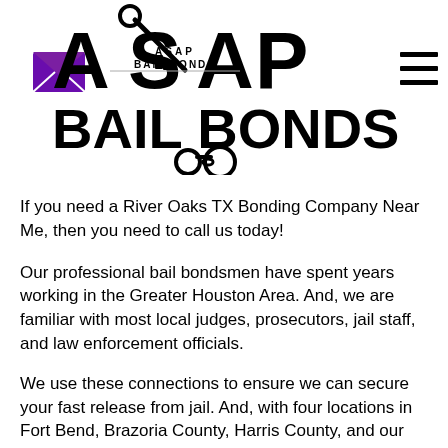[Figure (logo): ASAP Bail Bonds logo featuring large block letters ASAP with a key and handcuffs graphic, smaller text 'ASAP BAIL BONDS' in the middle, and large 'BAIL BONDS' text below, with a purple envelope icon on the left]
If you need a River Oaks TX Bonding Company Near Me, then you need to call us today!
Our professional bail bondsmen have spent years working in the Greater Houston Area. And, we are familiar with most local judges, prosecutors, jail staff, and law enforcement officials.
We use these connections to ensure we can secure your fast release from jail. And, with four locations in Fort Bend, Brazoria County, Harris County, and our partners at First Choice Bail Bonds in Lake Conroe, you can be sure that